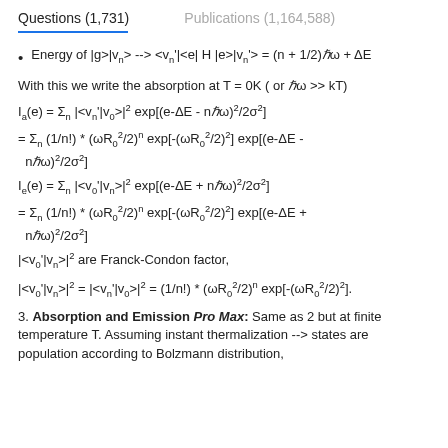Questions (1,731)    Publications (1,164,588)
Energy of |g>|vn> --> <vn'|<e| H |e>|vn'> = (n + 1/2)ℏω + ΔE
With this we write the absorption at T = 0K ( or ℏω >> kT)
|<v0'|vn>|² are Franck-Condon factor,
3. Absorption and Emission Pro Max: Same as 2 but at finite temperature T. Assuming instant thermalization --> states are population according to Bolzmann distribution,